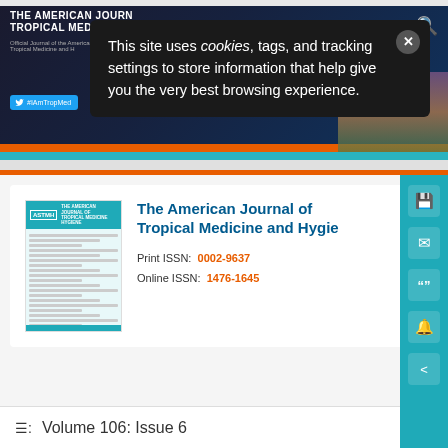[Figure (screenshot): Website header banner for The American Journal of Tropical Medicine and Hygiene with orange and teal stripes, Twitter badge, and decorative background image]
This site uses cookies, tags, and tracking settings to store information that help give you the very best browsing experience.
[Figure (photo): Journal cover thumbnail for The American Journal of Tropical Medicine and Hygiene]
The American Journal of Tropical Medicine and Hygie
Print ISSN: 0002-9637
Online ISSN: 1476-1645
Volume 106: Issue 6